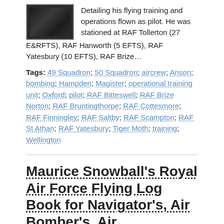[Figure (photo): Small black and white photograph, dark tones]
Detailing his flying training and operations flown as pilot. He was stationed at RAF Tollerton (27 E&RFTS), RAF Hanworth (5 EFTS), RAF Yatesbury (10 EFTS), RAF Brize…
Tags: 49 Squadron; 50 Squadron; aircrew; Anson; bombing; Hampden; Magister; operational training unit; Oxford; pilot; RAF Bitteswell; RAF Brize Norton; RAF Bruntingthorpe; RAF Cottesmore; RAF Finningley; RAF Saltby; RAF Scampton; RAF St Athan; RAF Yatesbury; Tiger Moth; training; Wellington
Maurice Snowball's Royal Air Force Flying Log Book for Navigator's, Air Bomber's, Air…